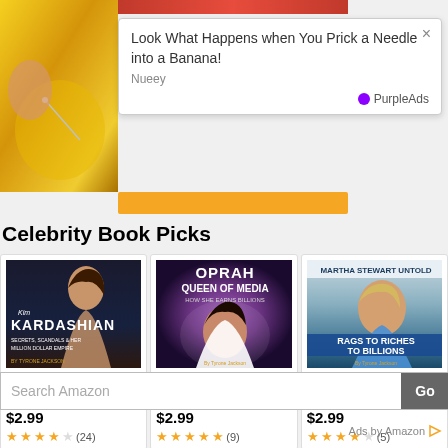[Figure (screenshot): Top portion showing a needle in banana image and an orange bar below it]
[Figure (infographic): Pop-up advertisement: 'Look What Happens when You Prick a Needle into a Banana!' from Nueey, with PurpleAds branding and close X button]
Celebrity Book Picks
[Figure (photo): Book cover: Kim Kardashian Secrets, Scandals & Her Million Dollar Empire by Tyrone Jackson]
Kim Kardashian Secrets, Scandals & ...
$2.99
(24)
[Figure (photo): Book cover: Oprah Queen of Media: How She Earns Billions by Tyrone Jackson]
Oprah Queen of Media: How She Earns Billions
$2.99
(9)
[Figure (photo): Book cover: Martha Stewart Untold: Rags To Riches To Billions by Tyrone Jackson]
Martha Stewart Untold: Rags To Riches To Bil...
$2.99
(5)
Search Amazon
Go
Ads by Amazon